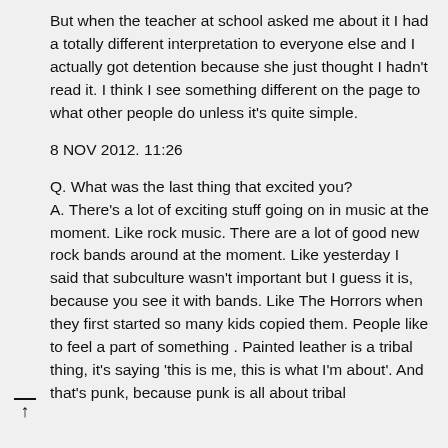But when the teacher at school asked me about it I had a totally different interpretation to everyone else and I actually got detention because she just thought I hadn't read it. I think I see something different on the page to what other people do unless it's quite simple.
8 NOV 2012. 11:26
Q. What was the last thing that excited you? A. There's a lot of exciting stuff going on in music at the moment. Like rock music. There are a lot of good new rock bands around at the moment. Like yesterday I said that subculture wasn't important but I guess it is, because you see it with bands. Like The Horrors when they first started so many kids copied them. People like to feel a part of something . Painted leather is a tribal thing, it's saying 'this is me, this is what I'm about'. And that's punk, because punk is all about tribal